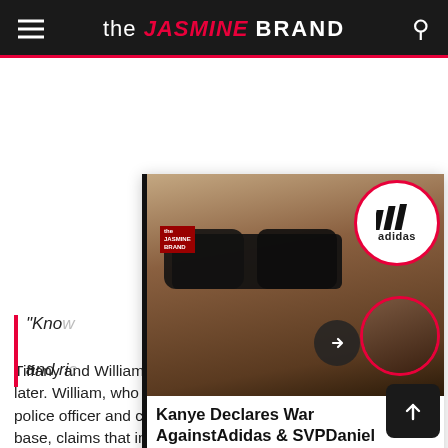the JASMINE BRAND
[Figure (screenshot): Article card showing Kanye West wearing sunglasses with Adidas logo circle and a second person circle, with article headline overlay]
“Know... and ric...
Kanye Declares War AgainstAdidas & SVPDaniel Cherry,Accuses Company Of ...
Tiffany and William married in 2008 and divorced five years later. William, who is described as a US Army vet, former police officer and current employee on the US Air Force base, claims that in her book,